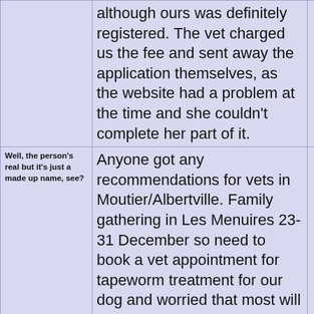although ours was definitely registered. The vet charged us the fee and sent away the application themselves, as the website had a problem at the time and she couldn't complete her part of it.
Well, the person's real but it's just a made up name, see?
Anyone got any recommendations for vets in Moutier/Albertville. Family gathering in Les Menuires 23-31 December so need to book a vet appointment for tapeworm treatment for our dog and worried that most will be emergency only during that week. Thanks.
You need to Login to know who's really who.
@Snowmadmum, not Moutiers/Albertville, but we used one in Aime a couple of weeks ago via a recommendation on here.

https://www.axivet.fr/